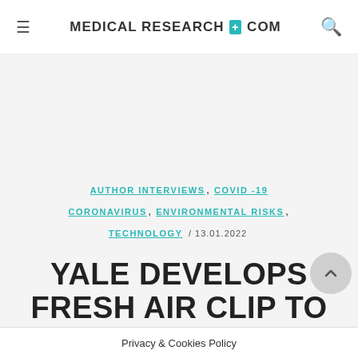MEDICALRESEARCH+COM
AUTHOR INTERVIEWS, COVID -19 CORONAVIRUS, ENVIRONMENTAL RISKS, TECHNOLOGY / 13.01.2022
YALE DEVELOPS FRESH AIR CLIP TO MEASURE PERSONAL EXPOSURE
Privacy & Cookies Policy